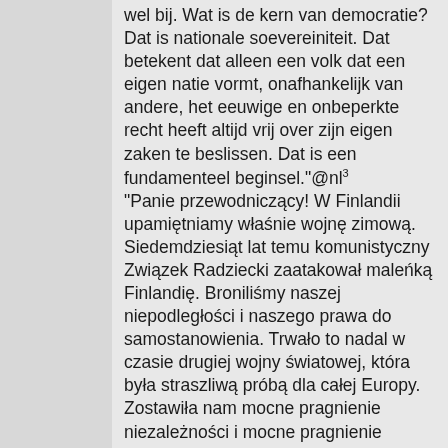wel bij. Wat is de kern van democratie? Dat is nationale soevereiniteit. Dat betekent dat alleen een volk dat een eigen natie vormt, onafhankelijk van andere, het eeuwige en onbeperkte recht heeft altijd vrij over zijn eigen zaken te beslissen. Dat is een fundamenteel beginsel."@nl³ "Panie przewodniczący! W Finlandii upamiętniamy właśnie wojnę zimową. Siedemdziesiąt lat temu komunistyczny Związek Radziecki zaatakował maleńką Finlandię. Broniliśmy naszej niepodległości i naszego prawa do samostanowienia. Trwało to nadal w czasie drugiej wojny światowej, która była straszliwą próbą dla całej Europy. Zostawiła nam mocne pragnienie niezależności i mocne pragnienie decydowania o naszych własnych sprawach. Helsinki, Moskwa i Londyn były jedynymi stolicami, które nie były